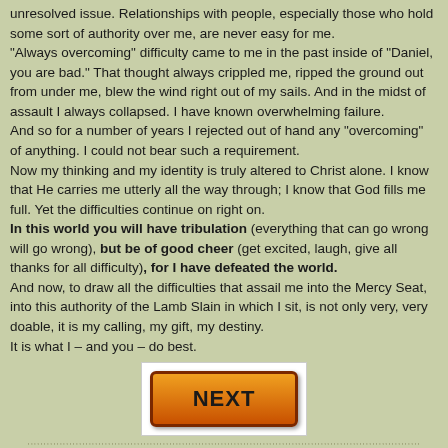unresolved issue. Relationships with people, especially those who hold some sort of authority over me, are never easy for me.
"Always overcoming" difficulty came to me in the past inside of "Daniel, you are bad." That thought always crippled me, ripped the ground out from under me, blew the wind right out of my sails. And in the midst of assault I always collapsed. I have known overwhelming failure.
And so for a number of years I rejected out of hand any "overcoming" of anything. I could not bear such a requirement.
Now my thinking and my identity is truly altered to Christ alone. I know that He carries me utterly all the way through; I know that God fills me full. Yet the difficulties continue on right on.
In this world you will have tribulation (everything that can go wrong will go wrong), but be of good cheer (get excited, laugh, give all thanks for all difficulty), for I have defeated the world.
And now, to draw all the difficulties that assail me into the Mercy Seat, into this authority of the Lamb Slain in which I sit, is not only very, very doable, it is my calling, my gift, my destiny.
It is what I – and you – do best.
[Figure (other): Orange NEXT button with dark border and gradient fill]
...............................................................................................................